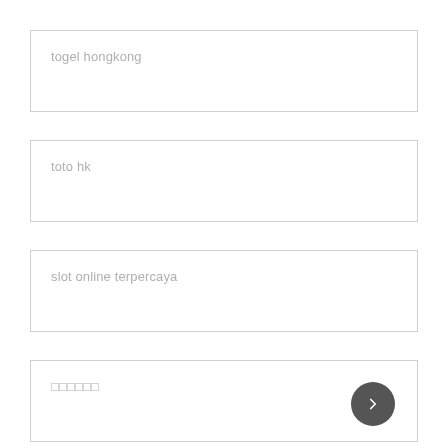togel hongkong
toto hk
slot online terpercaya
□□□□□□